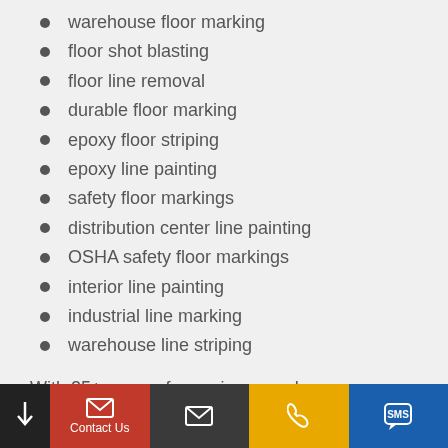warehouse floor marking
floor shot blasting
floor line removal
durable floor marking
epoxy floor striping
epoxy line painting
safety floor markings
distribution center line painting
OSHA safety floor markings
interior line painting
industrial line marking
warehouse line striping
With 25+ years of experience and resources, we can handle the BIG jobs in Grove City!